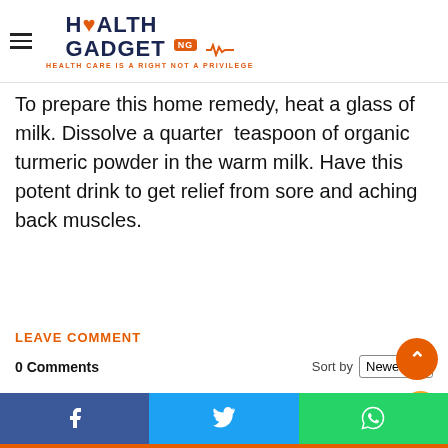Health Gadget NG — HEALTH CARE IS A RIGHT NOT A PRIVILEGE
swelling and pain due to osteoarthritis. Spinal stenosis is one of top causes for excruciating back pain.
To prepare this home remedy, heat a glass of milk. Dissolve a quarter  teaspoon of organic turmeric powder in the warm milk. Have this potent drink to get relief from sore and aching back muscles.
LEAVE COMMENT
0 Comments
Sort by Newest
Facebook | Twitter | WhatsApp